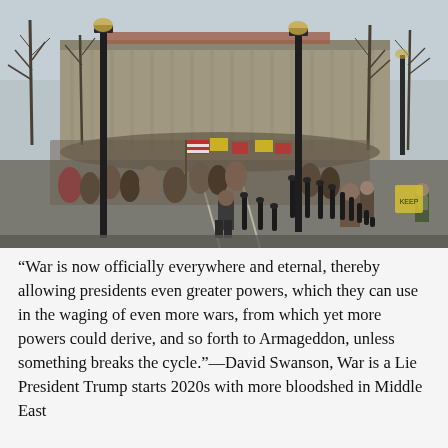[Figure (photo): A large crowd of protesters marching along a wide urban street in Washington D.C. The marchers carry signs and American flags. Bare winter trees line the sidewalks, and a large neoclassical government building is visible in the background. Black bollards line the right side of the street. Overcast sky.]
“War is now officially everywhere and eternal, thereby allowing presidents even greater powers, which they can use in the waging of even more wars, from which yet more powers could derive, and so forth to Armageddon, unless something breaks the cycle.”—David Swanson, War is a Lie President Trump starts 2020s with more bloodshed in Middle East